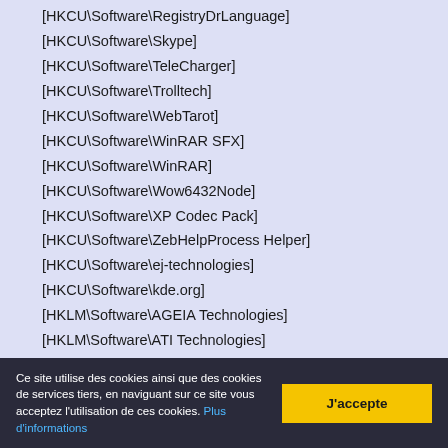[HKCU\Software\RegistryDrLanguage]
[HKCU\Software\Skype]
[HKCU\Software\TeleCharger]
[HKCU\Software\Trolltech]
[HKCU\Software\WebTarot]
[HKCU\Software\WinRAR SFX]
[HKCU\Software\WinRAR]
[HKCU\Software\Wow6432Node]
[HKCU\Software\XP Codec Pack]
[HKCU\Software\ZebHelpProcess Helper]
[HKCU\Software\ej-technologies]
[HKCU\Software\kde.org]
[HKLM\Software\AGEIA Technologies]
[HKLM\Software\ATI Technologies]
[HKLM\Software\BrowserChoice]
[HKLM\Software\CBSTEST]
[HKLM\Software\Classes]
[HKLM\Software\Clients]
[HKLM\Software\Google]
Ce site utilise des cookies ainsi que des cookies de services tiers, en naviguant sur ce site vous acceptez l'utilisation de ces cookies. Plus d'informations
J'accepte